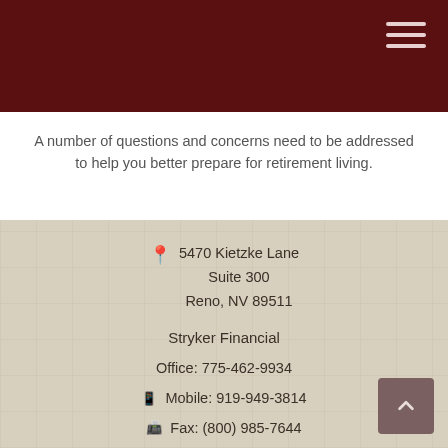A number of questions and concerns need to be addressed to help you better prepare for retirement living.
5470 Kietzke Lane Suite 300 Reno, NV 89511
Stryker Financial
Office: 775-462-9934
Mobile: 919-949-3814
Fax: (800) 985-7644